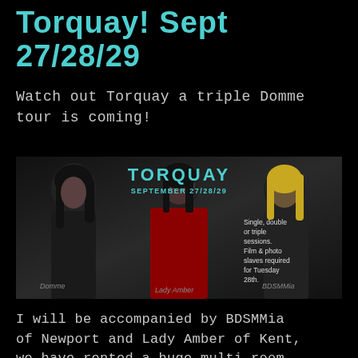Torquay! Sept 27/28/29
Watch out Torquay a triple Domme tour is coming!
[Figure (photo): Promotional banner for a Torquay BDSM tour September 27/28/29, featuring three women: a dark-haired woman in leather on the left labeled 'Domme', a woman in red in the center labeled 'Lady Amber', and a blonde woman on the right labeled 'BDSMMia'. Text reads: TORQUAY, SEPTEMBER 27/28/29, Single, double or triple sessions. Film & photo slaves required for Tuesday 28th.]
I will be accompanied by BDSMMia of Newport and Lady Amber of Kent, we have rented a huge multi room apartment and will be available for single, double or triple sessions, and